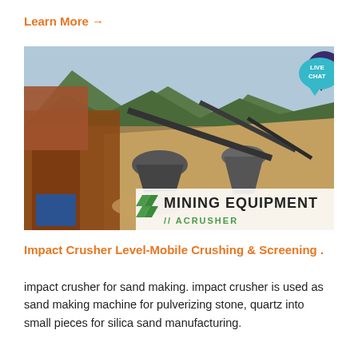Learn More →
[Figure (photo): Mining equipment site showing multiple cone crushers and conveyor machinery in an open-air setting with mountains in background. Overlay text reads 'MINING EQUIPMENT ACRUSHER' in the lower right corner.]
Impact Crusher Level-Mobile Crushing & Screening .
impact crusher for sand making. impact crusher is used as sand making machine for pulverizing stone, quartz into small pieces for silica sand manufacturing.